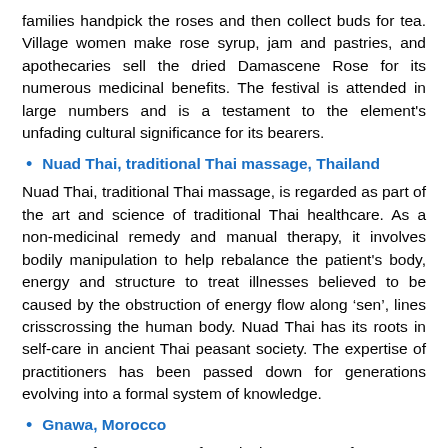families handpick the roses and then collect buds for tea. Village women make rose syrup, jam and pastries, and apothecaries sell the dried Damascene Rose for its numerous medicinal benefits. The festival is attended in large numbers and is a testament to the element's unfading cultural significance for its bearers.
Nuad Thai, traditional Thai massage, Thailand
Nuad Thai, traditional Thai massage, is regarded as part of the art and science of traditional Thai healthcare. As a non-medicinal remedy and manual therapy, it involves bodily manipulation to help rebalance the patient's body, energy and structure to treat illnesses believed to be caused by the obstruction of energy flow along ‘sen’, lines crisscrossing the human body. Nuad Thai has its roots in self-care in ancient Thai peasant society. The expertise of practitioners has been passed down for generations evolving into a formal system of knowledge.
Gnawa, Morocco
Gnawa refers to a set of musical events, performances, fraternal practices and therapeutic rituals combining secular and sacred features including all-night therapeutic possession rituals in cities and communal meals offered to marabout saints in rural areas. Originally practised by groups and individuals from slavery and the slave trade dating back to the 16th century, Gnawa culture now